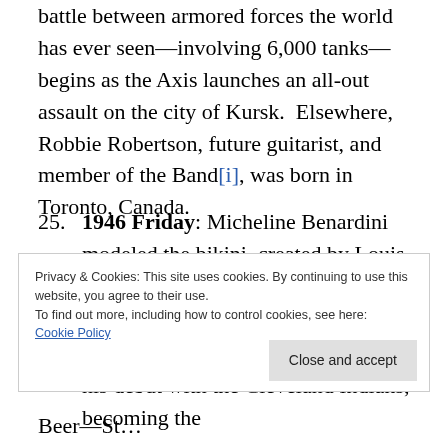battle between armored forces the world has ever seen—involving 6,000 tanks—begins as the Axis launches an all-out assault on the city of Kursk.  Elsewhere, Robbie Robertson, future guitarist, and member of the Band[i], was born in Toronto, Canada.
25. 1946 Friday: Micheline Benardini modeled the bikini, created by Louis Reard, during a poolside fashion show in Paris, France.
26. 1947 Saturday: Larry Doby made his debut with the Cleveland Indians, becoming the
Privacy & Cookies: This site uses cookies. By continuing to use this website, you agree to their use.
To find out more, including how to control cookies, see here:
Cookie Policy
Close and accept